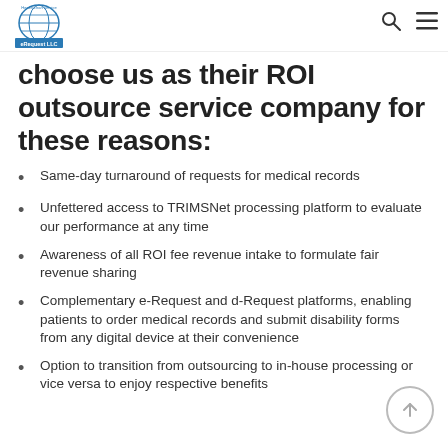eRequest LLC
choose us as their ROI outsource service company for these reasons:
Same-day turnaround of requests for medical records
Unfettered access to TRIMSNet processing platform to evaluate our performance at any time
Awareness of all ROI fee revenue intake to formulate fair revenue sharing
Complementary e-Request and d-Request platforms, enabling patients to order medical records and submit disability forms from any digital device at their convenience
Option to transition from outsourcing to in-house processing or vice versa to enjoy respective benefits